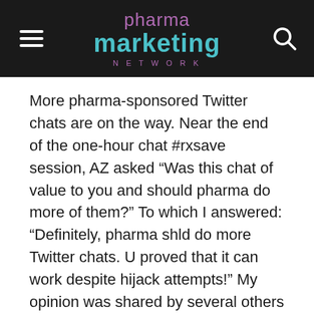pharma marketing network
More pharma-sponsored Twitter chats are on the way. Near the end of the one-hour chat #rxsave session, AZ asked “Was this chat of value to you and should pharma do more of them?” To which I answered: “Definitely, pharma shld do more Twitter chats. U proved that it can work despite hijack attempts!” My opinion was shared by several others who participated in the session. AZ had this to say about that:
“re next tweet chats @soulflsepulcher will we host one? let’s see how this goes – and how FDA